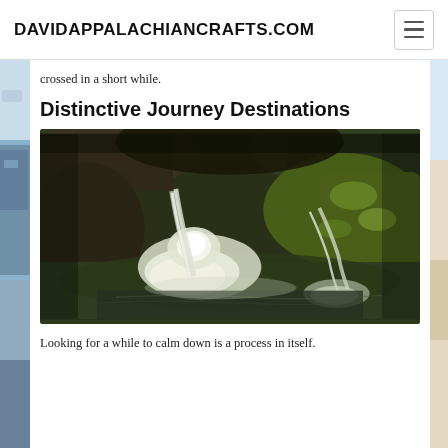DAVIDAPPALACHIANCRAFTS.COM
crossed in a short while.
Distinctive Journey Destinations
[Figure (photo): A long-exposure waterfall photo showing water cascading over mossy green rocks into a misty pool, with dramatic lighting from the center.]
Looking for a while to calm down is a process in itself.